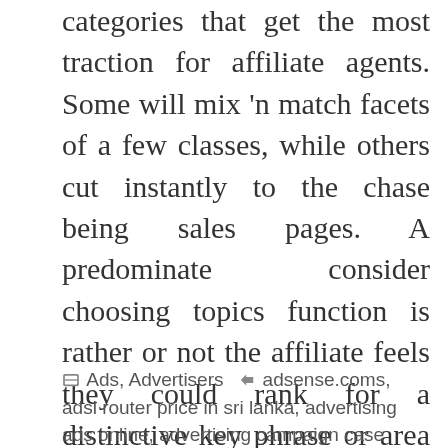categories that get the most traction for affiliate agents. Some will mix 'n match facets of a few classes, while others cut instantly to the chase being sales pages. A predominate consider choosing topics function is rather or not the affiliate feels they could rank for a distinctive key phrase or area matter. Directories; price comparisons; cause associated advertising and marketing; blogs; loyalty and reward sites; coupon and rebate sites; membership sites; file and video sharing sites; review sites; recruitment sites; cost per action sites; pay per click sites; niche advertising and marketing and e trade sites.
Ads, Advertisers   adsense.coms, adsl router price in sri lanka, advertising ads online, advertising campaign case study...